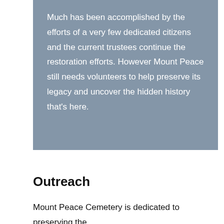Much has been accomplished by the efforts of a very few dedicated citizens and the current trustees continue the restoration efforts. However Mount Peace still needs volunteers to help preserve its legacy and uncover the hidden history that's here.
Outreach
Mount Peace Cemetery is dedicated to preserving the